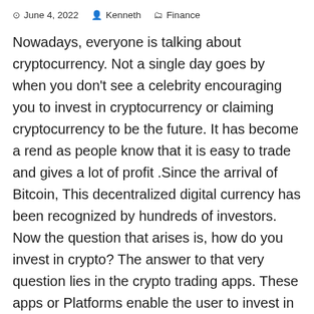June 4, 2022   Kenneth   Finance
Nowadays, everyone is talking about cryptocurrency. Not a single day goes by when you don't see a celebrity encouraging you to invest in cryptocurrency or claiming cryptocurrency to be the future. It has become a rend as people know that it is easy to trade and gives a lot of profit .Since the arrival of Bitcoin, This decentralized digital currency has been recognized by hundreds of investors. Now the question that arises is, how do you invest in crypto? The answer to that very question lies in the crypto trading apps. These apps or Platforms enable the user to invest in a particular cryptocurrency just like an investor invests in shares and stocks.